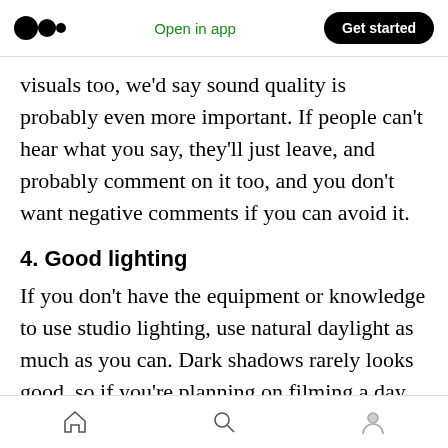Medium app header — Open in app | Get started
visuals too, we'd say sound quality is probably even more important. If people can't hear what you say, they'll just leave, and probably comment on it too, and you don't want negative comments if you can avoid it.
4. Good lighting
If you don't have the equipment or knowledge to use studio lighting, use natural daylight as much as you can. Dark shadows rarely looks good, so if you're planning on filming a day when the daylight is poor, it's a better idea to wait until the
Home | Search | Profile